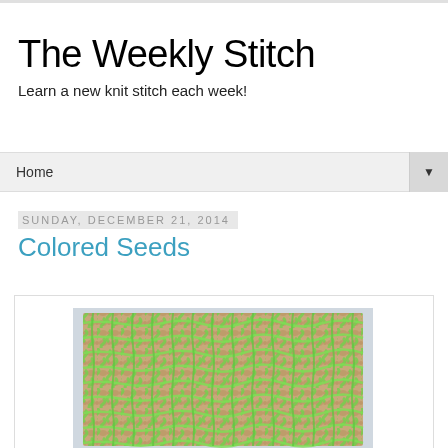The Weekly Stitch
Learn a new knit stitch each week!
Home
Sunday, December 21, 2014
Colored Seeds
[Figure (photo): A knitted fabric swatch showing colored seeds stitch pattern with green yarn over a beige/tan base yarn, creating a textured lattice effect.]